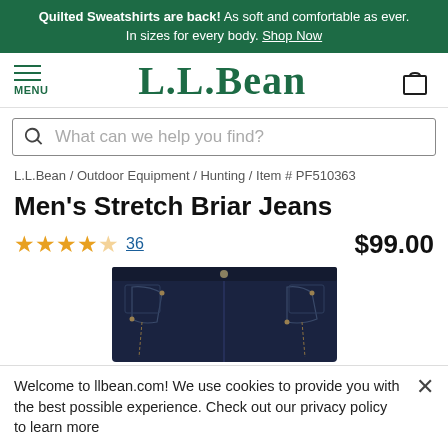Quilted Sweatshirts are back! As soft and comfortable as ever. In sizes for every body. Shop Now
[Figure (logo): L.L.Bean logo with hamburger menu icon and shopping bag icon]
What can we help you find?
L.L.Bean / Outdoor Equipment / Hunting / Item # PF510363
Men's Stretch Briar Jeans
★★★★☆ 36  $99.00
[Figure (photo): Dark navy blue men's stretch briar jeans, front view, showing 5-pocket style with button fly]
Welcome to llbean.com! We use cookies to provide you with the best possible experience. Check out our privacy policy to learn more